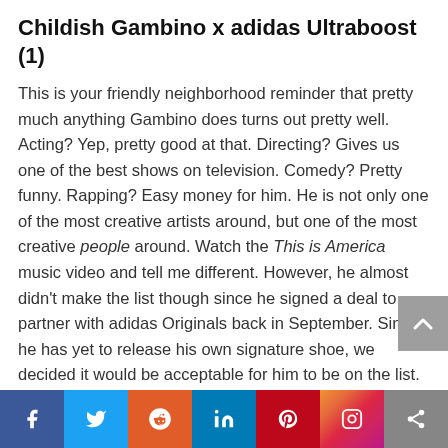Childish Gambino x adidas Ultraboost (1)
This is your friendly neighborhood reminder that pretty much anything Gambino does turns out pretty well. Acting? Yep, pretty good at that. Directing? Gives us one of the best shows on television. Comedy? Pretty funny. Rapping? Easy money for him. He is not only one of the most creative artists around, but one of the most creative people around. Watch the This is America music video and tell me different. However, he almost didn't make the list though since he signed a deal to partner with adidas Originals back in September. Since he has yet to release his own signature shoe, we decided it would be acceptable for him to be on the list.
Gambino is a revolutionary creator, so he gets a revolutionary sneaker, the adidas Ultraboost. The Boost was born out of a desire by shoe designers to break